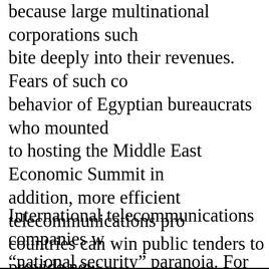because large multinational corporations such bite deeply into their revenues. Fears of such co behavior of Egyptian bureaucrats who mounted to hosting the Middle East Economic Summit in addition, more efficient telecommunications pro countries can win public tenders to provide new based, Internet, and cable communications. To p tough foreign competition, the former national monopolies will once again raise the banners of all, would the Syrian government permit Bezek, telecommunications provider, to install new dig Israel outsource the maintenance of its telepho company because the latter charges less?
International telecommunications companies w "national security" paranoia. For example, Arafa virtually identical "exclusive" rights to two com European telecom providers to establish comm